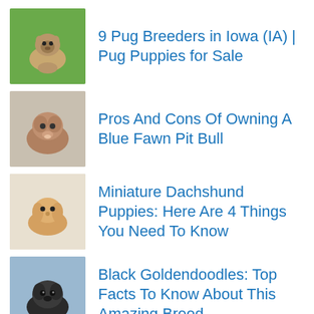9 Pug Breeders in Iowa (IA) | Pug Puppies for Sale
Pros And Cons Of Owning A Blue Fawn Pit Bull
Miniature Dachshund Puppies: Here Are 4 Things You Need To Know
Black Goldendoodles: Top Facts To Know About This Amazing Breed
Ad  Регистрация на търговска марка
НАУЧЕТЕ ПОВЕЧЕ